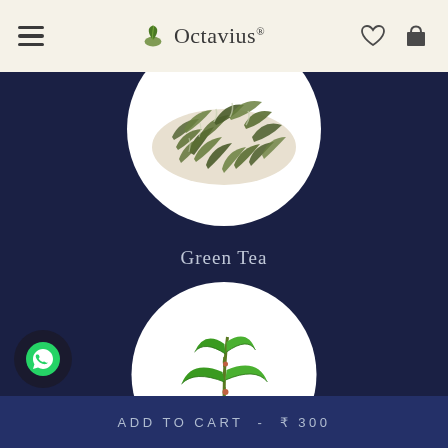Octavius
[Figure (photo): Circular white plate with loose green tea leaves on dark navy background]
Green Tea
[Figure (photo): Circular white background with fresh green herb/mint leaves]
ADD TO CART  -  ₹ 300